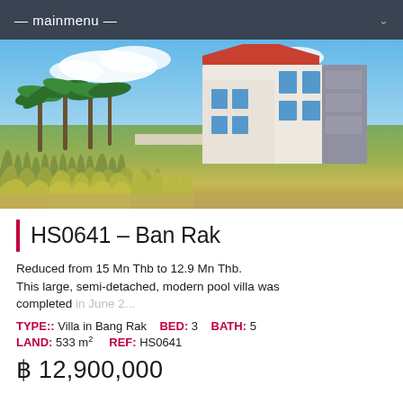— mainmenu —
[Figure (photo): Exterior photo of a large modern semi-detached white villa with red-tiled roof, seen across a field of tall grass with palm trees in the background and a blue sky with clouds.]
HS0641 – Ban Rak
Reduced from 15 Mn Thb to 12.9 Mn Thb. This large, semi-detached, modern pool villa was completed in June 2...
TYPE:: Villa in Bang Rak   BED: 3   BATH: 5   LAND: 533 m²   REF: HS0641
฿ 12,900,000